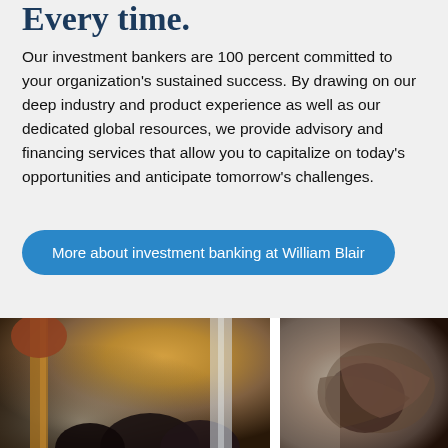Every time.
Our investment bankers are 100 percent committed to your organization's sustained success. By drawing on our deep industry and product experience as well as our dedicated global resources, we provide advisory and financing services that allow you to capitalize on today's opportunities and anticipate tomorrow's challenges.
More about investment banking at William Blair
[Figure (photo): Two side-by-side photographs of business professionals in meeting/networking settings, partially visible at the bottom of the page.]